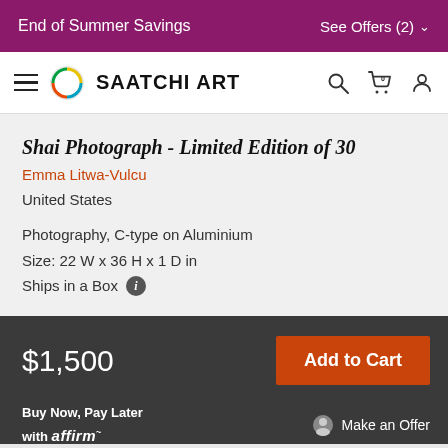End of Summer Savings    See Offers (2)
[Figure (logo): Saatchi Art logo with navigation icons (hamburger menu, circular colorful logo mark, SAATCHI ART wordmark, search icon, cart icon, user icon)]
Shai Photograph - Limited Edition of 30
Emma Litwa-Vulcu
United States
Photography, C-type on Aluminium
Size: 22 W x 36 H x 1 D in
Ships in a Box
$1,500
Add to Cart
Buy Now, Pay Later with affirm    Make an Offer